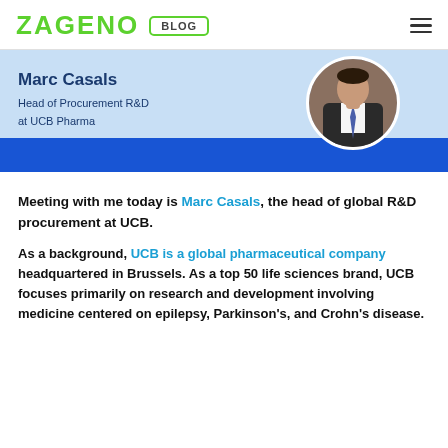ZAGENO BLOG
[Figure (photo): Profile banner with Marc Casals name, title 'Head of Procurement R&D at UCB Pharma', and a circular photo of a man in a dark suit with blue tie, on a light blue and dark blue background.]
Meeting with me today is Marc Casals, the head of global R&D procurement at UCB.
As a background, UCB is a global pharmaceutical company headquartered in Brussels. As a top 50 life sciences brand, UCB focuses primarily on research and development involving medicine centered on epilepsy, Parkinson's, and Crohn's disease.